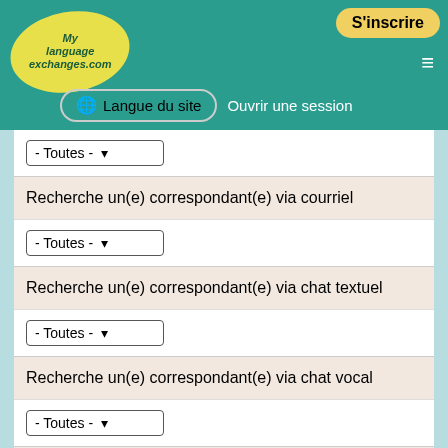S'inscrire | Langue du site | Ouvrir une session | MyLanguageExchange.com
- Toutes -
Recherche un(e) correspondant(e) via courriel
- Toutes -
Recherche un(e) correspondant(e) via chat textuel
- Toutes -
Recherche un(e) correspondant(e) via chat vocal
- Toutes -
Recherche un(e) correspondant(e) en personne
oui
Prénom